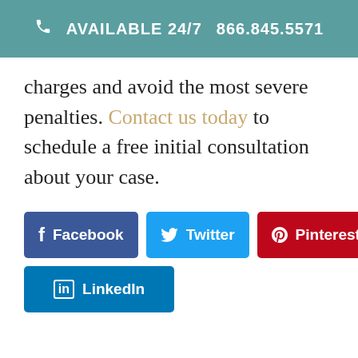AVAILABLE 24/7  866.845.5571
charges and avoid the most severe penalties. Contact us today to schedule a free initial consultation about your case.
[Figure (infographic): Social media sharing buttons: Facebook (dark blue), Twitter (light blue), Pinterest (red), LinkedIn (blue)]